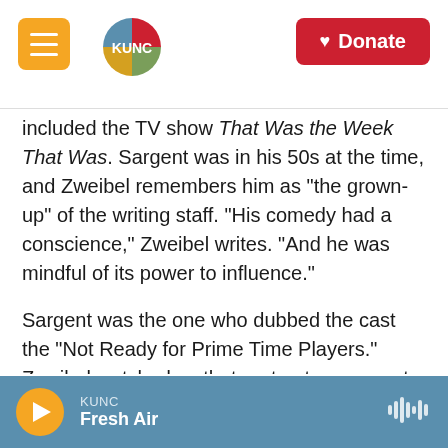KUNC | Donate
included the TV show That Was the Week That Was. Sargent was in his 50s at the time, and Zweibel remembers him as "the grown-up" of the writing staff. "His comedy had a conscience," Zweibel writes. "And he was mindful of its power to influence."
Sargent was the one who dubbed the cast the "Not Ready for Prime Time Players." Zweibel watched as that ragtag troupe went from relative obscurity to major stardom. "More success came with more trappings. Cabs became Town Cars. Rentals became co-ops. Cast members got their own
KUNC Fresh Air